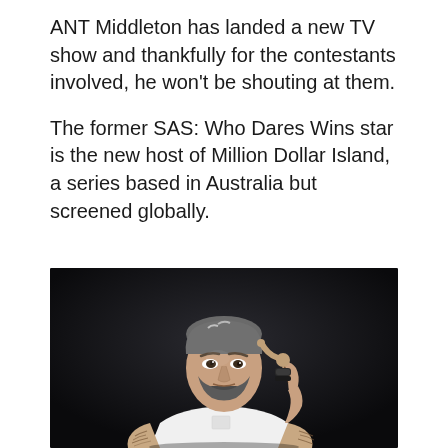ANT Middleton has landed a new TV show and thankfully for the contestants involved, he won't be shouting at them.
The former SAS: Who Dares Wins star is the new host of Million Dollar Island, a series based in Australia but screened globally.
[Figure (photo): A muscular man with tattoos on his arms, grey-streaked short hair and beard, wearing a white t-shirt, sitting and pointing to his temple with one finger, photographed against a dark background in a studio setting.]